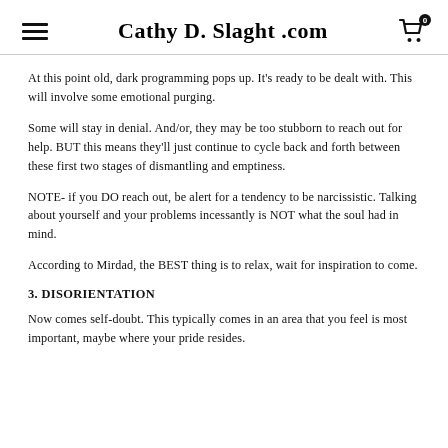Cathy D. Slaght .com
At this point old, dark programming pops up. It's ready to be dealt with. This will involve some emotional purging.
Some will stay in denial. And/or, they may be too stubborn to reach out for help. BUT this means they'll just continue to cycle back and forth between these first two stages of dismantling and emptiness.
NOTE- if you DO reach out, be alert for a tendency to be narcissistic. Talking about yourself and your problems incessantly is NOT what the soul had in mind.
According to Mirdad, the BEST thing is to relax, wait for inspiration to come.
3. DISORIENTATION
Now comes self-doubt. This typically comes in an area that you feel is most important, maybe where your pride resides.